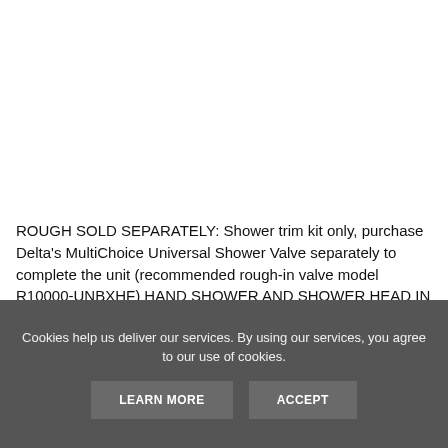ROUGH SOLD SEPARATELY: Shower trim kit only, purchase Delta's MultiChoice Universal Shower Valve separately to complete the unit (recommended rough-in valve model R10000-UNBXHF) HAND SHOWER AND SHOWER HEAD IN ONE: The In2ition 2-in-1 Dual Shower
Cookies help us deliver our services. By using our services, you agree to our use of cookies.